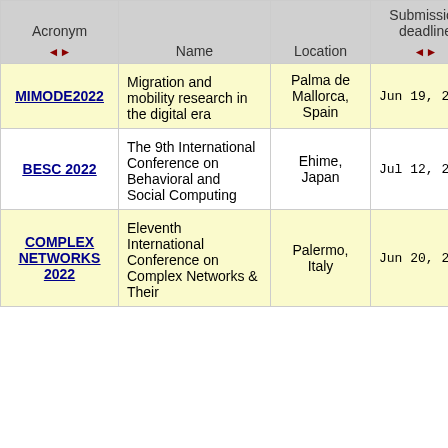| Acronym | Name | Location | Submission deadline | Start date |
| --- | --- | --- | --- | --- |
| MIMODE2022 | Migration and mobility research in the digital era | Palma de Mallorca, Spain | Jun 19, 2022 | Oct 17, 20… |
| BESC 2022 | The 9th International Conference on Behavioral and Social Computing | Ehime, Japan | Jul 12, 2022 | Oct 29, 20… |
| COMPLEX NETWORKS 2022 | Eleventh International Conference on Complex Networks & Their… | Palermo, Italy | Jun 20, 2022 | Nov 8, 20… |